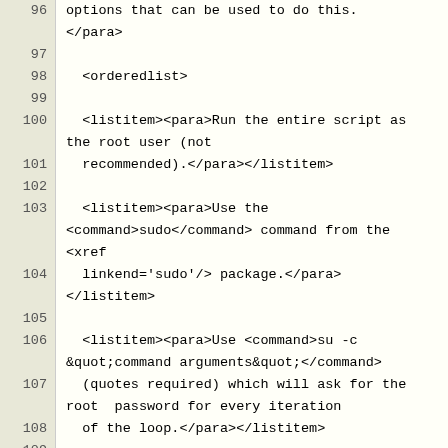Code editor view showing XML source lines 96–112 of a documentation file with orderedlist markup.
| line | code |
| --- | --- |
| 96 | options that can be used to do this. |
|  | </para> |
| 97 |  |
| 98 |   <orderedlist> |
| 99 |  |
| 100 |   <listitem><para>Run the entire script as |
|  | the root user (not |
| 101 |   recommended).</para></listitem> |
| 102 |  |
| 103 |   <listitem><para>Use the |
|  | <command>sudo</command> command from the |
|  | <xref |
| 104 |   linkend='sudo'/> package.</para> |
|  | </listitem> |
| 105 |  |
| 106 |   <listitem><para>Use <command>su -c |
|  | &quot;command arguments&quot;</command> |
| 107 |   (quotes required) which will ask for the |
|  | root  password for every iteration |
| 108 |   of the loop.</para></listitem> |
| 109 |  |
| 110 |   </orderedlist> |
| 111 |  |
| 112 |   <para>One way to handle this situation |
|  | is to create a short |